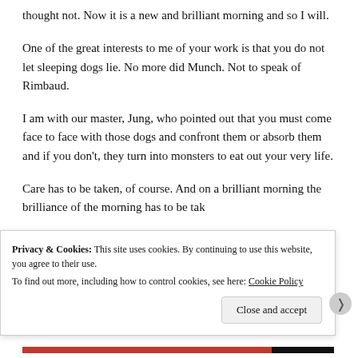thought not. Now it is a new and brilliant morning and so I will.
One of the great interests to me of your work is that you do not let sleeping dogs lie. No more did Munch. Not to speak of Rimbaud.
I am with our master, Jung, who pointed out that you must come face to face with those dogs and confront them or absorb them and if you don't, they turn into monsters to eat out your very life.
Care has to be taken, of course. And on a brilliant morning the brilliance of the morning has to be taken...
Privacy & Cookies: This site uses cookies. By continuing to use this website, you agree to their use. To find out more, including how to control cookies, see here: Cookie Policy